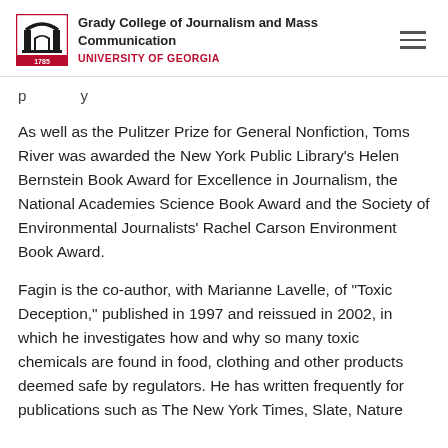Grady College of Journalism and Mass Communication UNIVERSITY OF GEORGIA
As well as the Pulitzer Prize for General Nonfiction, Toms River was awarded the New York Public Library's Helen Bernstein Book Award for Excellence in Journalism, the National Academies Science Book Award and the Society of Environmental Journalists' Rachel Carson Environment Book Award.
Fagin is the co-author, with Marianne Lavelle, of “Toxic Deception,” published in 1997 and reissued in 2002, in which he investigates how and why so many toxic chemicals are found in food, clothing and other products deemed safe by regulators. He has written frequently for publications such as The New York Times, Slate, Nature and Salon. In a long career spanning more than two decades,